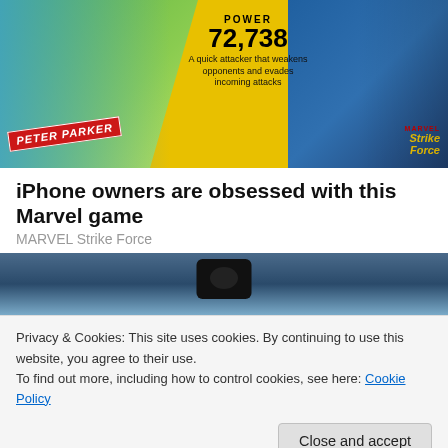[Figure (illustration): Marvel Strike Force game advertisement featuring Spider-Man characters (Peter Parker animated version on left, live-action on right), yellow triangle panel showing POWER 72,738, description text, and Marvel Strike Force logo]
iPhone owners are obsessed with this Marvel game
MARVEL Strike Force
[Figure (photo): Partial photo of a person holding a camera, blue/blurred background]
Privacy & Cookies: This site uses cookies. By continuing to use this website, you agree to their use.
To find out more, including how to control cookies, see here: Cookie Policy
Close and accept
[Figure (photo): Bottom partial image, dark blue and green tones]